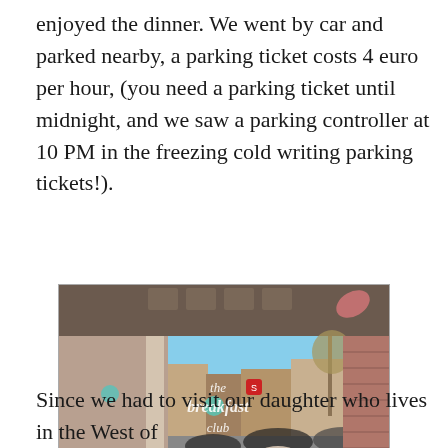enjoyed the dinner. We went by car and parked nearby, a parking ticket costs 4 euro per hour, (you need a parking ticket until midnight, and we saw a parking controller at 10 PM in the freezing cold writing parking tickets!).
[Figure (photo): View through a restaurant window showing 'the breakfast club' text on the glass, with people dining inside and a street scene with parked cars and blue sky visible outside.]
Since we had to visit our daughter who lives in the West of